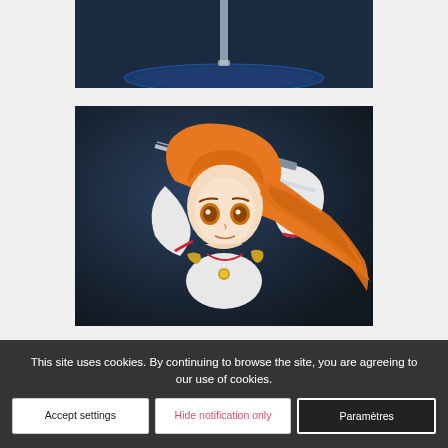[Figure (photo): Partial top view of an anime figure (Asuna from Sword Art Online) on a dark blue platform, showing the lower portion of the figure standing on a circular display base]
[Figure (photo): Close-up photo of an anime figure of Asuna from Sword Art Online, shown in a dynamic pose holding a sword above her head, with flowing orange hair, white battle outfit with red trim and gold details, against a dark blue-grey background]
This site uses cookies. By continuing to browse the site, you are agreeing to our use of cookies.
Accept settings
Hide notification only
Paramètres